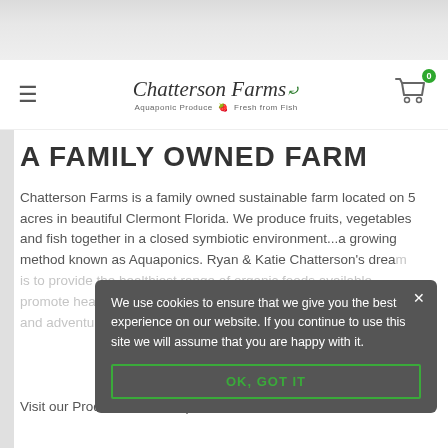[Figure (screenshot): Top image strip showing partial farm/nature imagery in grayscale]
≡  Chatterson Farms — Aquaponic Produce • Fresh from Fish  🛒 0
A FAMILY OWNED FARM
Chatterson Farms is a family owned sustainable farm located on 5 acres in beautiful Clermont Florida. We produce fruits, vegetables and fish together in a closed symbiotic environment...a growing method known as Aquaponics. Ryan & Katie Chatterson's dream is to provide the healthiest range of organic foods available, promote health in the community and bring a sense of discovery and adventure into food shopping.
We use cookies to ensure that we give you the best experience on our website. If you continue to use this site we will assume that you are happy with it.
OK, GOT IT
Visit our Products for a complete list of fresh,